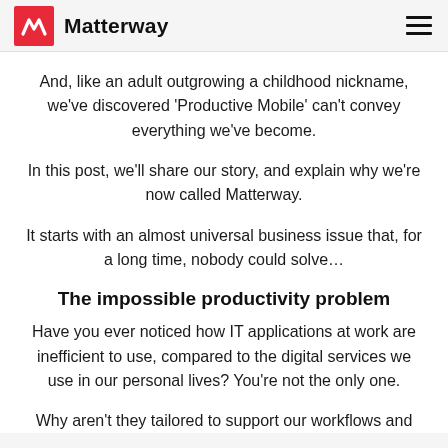Matterway
And, like an adult outgrowing a childhood nickname, we’ve discovered ‘Productive Mobile’ can’t convey everything we’ve become.
In this post, we’ll share our story, and explain why we’re now called Matterway.
It starts with an almost universal business issue that, for a long time, nobody could solve…
The impossible productivity problem
Have you ever noticed how IT applications at work are inefficient to use, compared to the digital services we use in our personal lives? You’re not the only one.
Why aren’t they tailored to support our workflows and